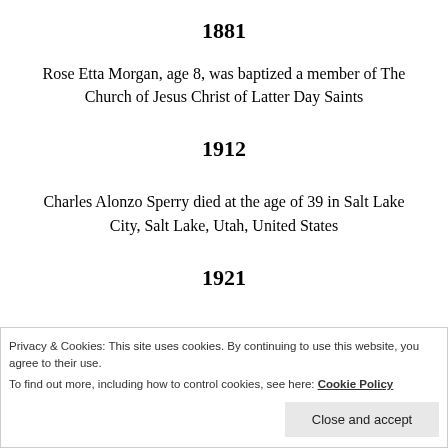1881
Rose Etta Morgan, age 8, was baptized a member of The Church of Jesus Christ of Latter Day Saints
1912
Charles Alonzo Sperry died at the age of 39 in Salt Lake City, Salt Lake, Utah, United States
1921
Privacy & Cookies: This site uses cookies. By continuing to use this website, you agree to their use.
To find out more, including how to control cookies, see here: Cookie Policy
Close and accept